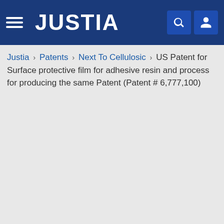JUSTIA
Justia › Patents › Next To Cellulosic › US Patent for Surface protective film for adhesive resin and process for producing the same Patent (Patent # 6,777,100)